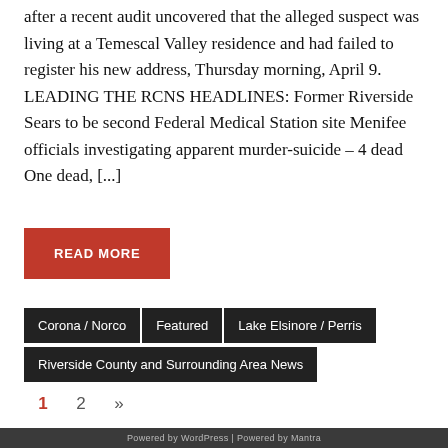after a recent audit uncovered that the alleged suspect was living at a Temescal Valley residence and had failed to register his new address, Thursday morning, April 9. LEADING THE RCNS HEADLINES: Former Riverside Sears to be second Federal Medical Station site Menifee officials investigating apparent murder-suicide – 4 dead One dead, [...]
READ MORE
Corona / Norco
Featured
Lake Elsinore / Perris
Riverside County and Surrounding Area News
1  2  »
Powered by WordPress | Powered by Mantra